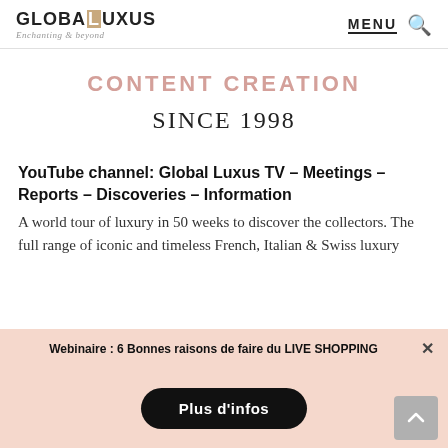GLOBAL LUXUS — Enchanting & beyond | MENU 🔍
CONTENT CREATION
SINCE 1998
YouTube channel: Global Luxus TV – Meetings – Reports – Discoveries – Information
A world tour of luxury in 50 weeks to discover the collectors. The full range of iconic and timeless French, Italian & Swiss luxury
Webinaire : 6 Bonnes raisons de faire du LIVE SHOPPING
Plus d'infos